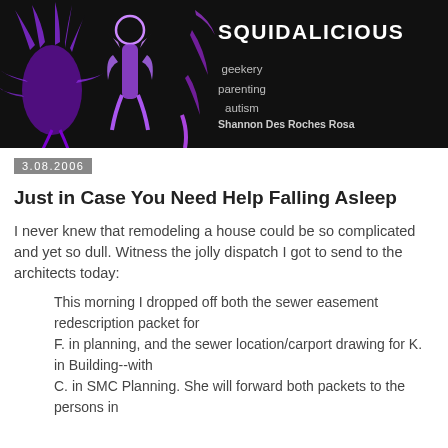[Figure (illustration): Squidalicious blog banner with dark background, purple glowing squid/human silhouette figures on the left, and text 'SQUIDALICIOUS' with subtitle 'geekery parenting autism' and author 'Shannon Des Roches Rosa' on the right.]
3.08.2006
Just in Case You Need Help Falling Asleep
I never knew that remodeling a house could be so complicated and yet so dull. Witness the jolly dispatch I got to send to the architects today:
This morning I dropped off both the sewer easement redescription packet for F. in planning, and the sewer location/carport drawing for K. in Building--with C. in SMC Planning. She will forward both packets to the persons in